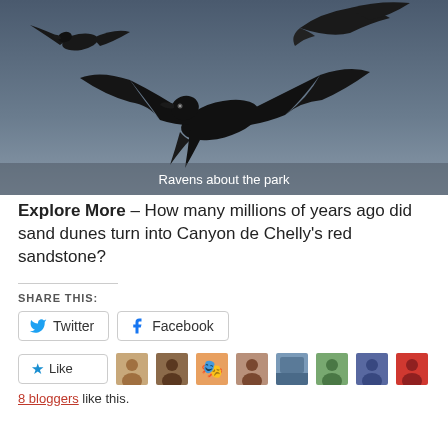[Figure (photo): Dark silhouettes of ravens flying against a blue-grey sky. Three birds visible in flight.]
Ravens about the park
Explore More – How many millions of years ago did sand dunes turn into Canyon de Chelly's red sandstone?
SHARE THIS:
Twitter  Facebook
Like
8 bloggers like this.